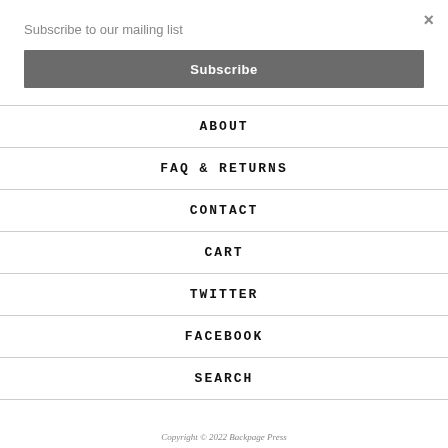Subscribe to our mailing list
×
Subscribe
ABOUT
FAQ & RETURNS
CONTACT
CART
TWITTER
FACEBOOK
SEARCH
Copyright © 2022 Backpage Press